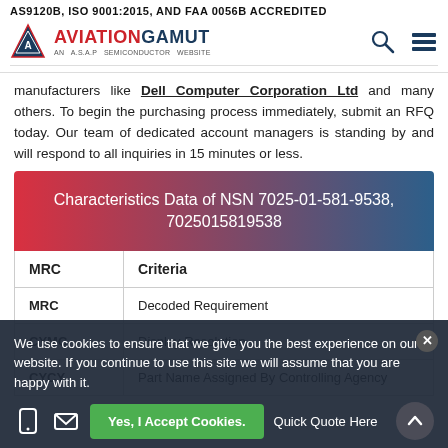AS9120B, ISO 9001:2015, AND FAA 0056B ACCREDITED
[Figure (logo): Aviation Gamut logo with triangle icon and 'AN A.S.A.P SEMICONDUCTOR WEBSITE' subtitle, with search and menu icons on the right]
manufacturers like Dell Computer Corporation Ltd and many others. To begin the purchasing process immediately, submit an RFQ today. Our team of dedicated account managers is standing by and will respond to all inquiries in 15 minutes or less.
| MRC | Criteria |
| --- | --- |
| MRC | Decoded Requirement |
| CYMC | Display Resolution |
| CYCY | Part Name Assigned By Controlling Agency |
We use cookies to ensure that we give you the best experience on our website. If you continue to use this site we will assume that you are happy with it.